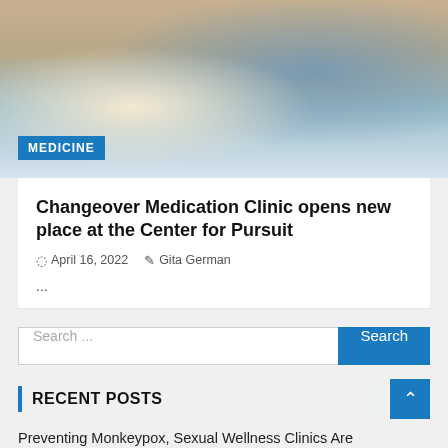[Figure (photo): Medical professionals in a clinical setting; a masked healthcare worker holds a document while another person holds a newborn baby wrapped in a striped blanket]
MEDICINE
Changeover Medication Clinic opens new place at the Center for Pursuit
April 16, 2022  Gita German
...
Search ...
RECENT POSTS
Preventing Monkeypox, Sexual Wellness Clinics Are